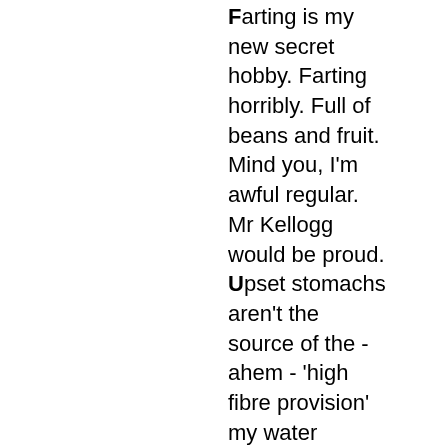Farting is my new secret hobby. Farting horribly. Full of beans and fruit. Mind you, I'm awful regular. Mr Kellogg would be proud. Upset stomachs aren't the source of the - ahem - 'high fibre provision' my water system is having to cope with, though. For some...